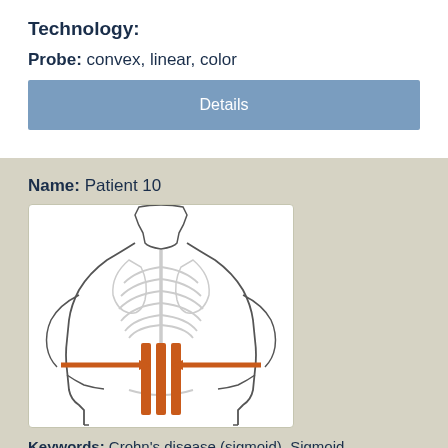Technology:
Probe: convex, linear, color
Details
Name: Patient 10
[Figure (illustration): Posterior view of human torso with skeletal structure visible. Three orange vertical bars shown at the lower mid-back region, with two orange arrows pointing inward from left and right sides toward the bars, indicating probe placement.]
Keywords: Crohn's disease (sigmoid), Sigmoid